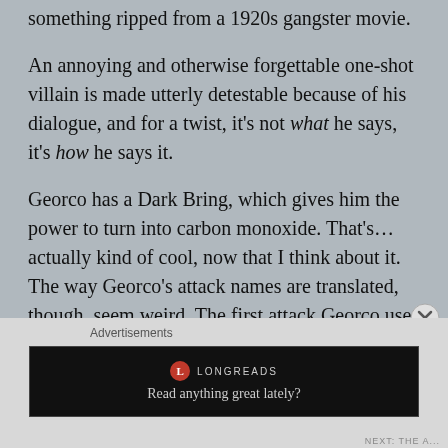something ripped from a 1920s gangster movie.
An annoying and otherwise forgettable one-shot villain is made utterly detestable because of his dialogue, and for a twist, it's not what he says, it's how he says it.
Georco has a Dark Bring, which gives him the power to turn into carbon monoxide. That's…actually kind of cool, now that I think about it. The way Georco's attack names are translated, though, seem weird. The first attack Georco uses is called “Toxic Gas Blast”, because when you live in a manga, you always need to announce exactly what you're doing to your
Advertisements
[Figure (other): Longreads advertisement banner with logo and tagline 'Read anything great lately?']